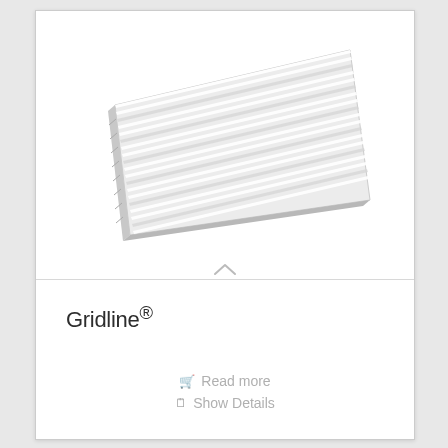[Figure (photo): Perspective view of a white Gridline grid/grating panel — a rectangular flat grid made of parallel white slats or fins spaced evenly, photographed from a slightly elevated angle against a white background.]
Gridline®
Read more
Show Details